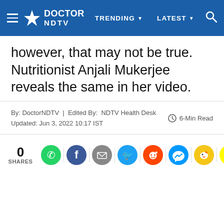[Figure (logo): Doctor NDTV navigation bar with logo, hamburger menu, TRENDING dropdown, LATEST dropdown, and search icon on blue background]
however, that may not be true. Nutritionist Anjali Mukerjee reveals the same in her video.
By: DoctorNDTV | Edited By: NDTV Health Desk
Updated: Jun 3, 2022 10:17 IST
6-Min Read
0 SHARES